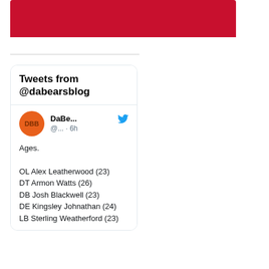[Figure (screenshot): Red banner/header image from dabearsblog]
[Figure (screenshot): Embedded Twitter widget showing tweets from @dabearsblog. Avatar is orange circle with 'DBB' text. Tweet content: 'Ages. OL Alex Leatherwood (23) DT Armon Watts (26) DB Josh Blackwell (23) DE Kingsley Johnathan (24) LB Sterling Weatherford (23)']
Ages.

OL Alex Leatherwood (23)
DT Armon Watts (26)
DB Josh Blackwell (23)
DE Kingsley Johnathan (24)
LB Sterling Weatherford (23)